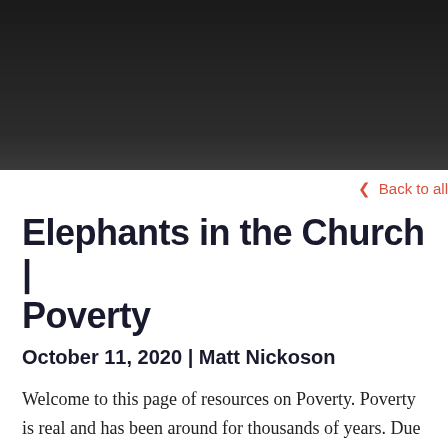[Figure (photo): Dark header image area, near-black background, appears to be a banner image for the webpage.]
< Back to all
Elephants in the Church | Poverty
October 11, 2020 | Matt Nickoson
Welcome to this page of resources on Poverty. Poverty is real and has been around for thousands of years. Due to a myriad of causes, poverty will always be with